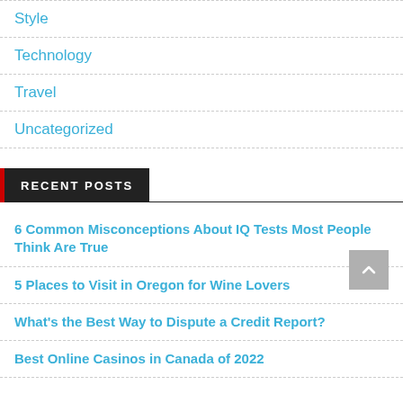Style
Technology
Travel
Uncategorized
RECENT POSTS
6 Common Misconceptions About IQ Tests Most People Think Are True
5 Places to Visit in Oregon for Wine Lovers
What's the Best Way to Dispute a Credit Report?
Best Online Casinos in Canada of 2022